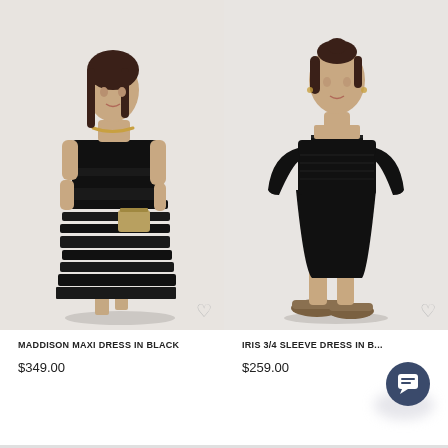[Figure (photo): Fashion product photo: woman wearing Maddison Maxi Dress in Black, a strapless floor-length black tiered/ruffled gown, holding a gold clutch, light background]
[Figure (photo): Fashion product photo: woman wearing Iris 3/4 Sleeve Dress in Black, a fitted knee-length black dress with 3/4 sleeves and square neckline, wearing flat patterned shoes, light background]
MADDISON MAXI DRESS IN BLACK
IRIS 3/4 SLEEVE DRESS IN B...
$349.00
$259.00